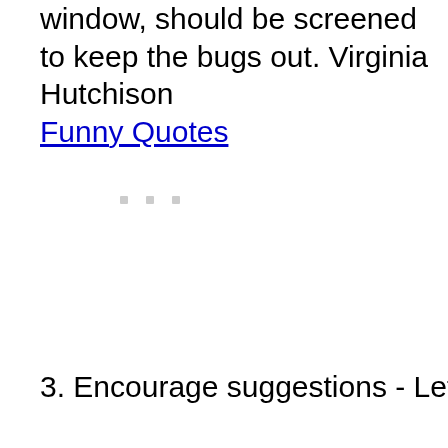window, should be screened to keep the bugs out. Virginia Hutchison Funny Quotes
3. Encourage suggestions - Let your